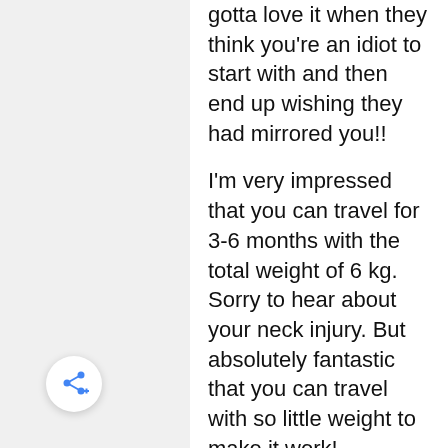gotta love it when they think you're an idiot to start with and then end up wishing they had mirrored you!!
I'm very impressed that you can travel for 3-6 months with the total weight of 6 kg. Sorry to hear about your neck injury. But absolutely fantastic that you can travel with so little weight to make it work!
I have a 6 week trip coming up on Tuesday, so will attempt to take your lead and pack a lot less than normal!!
[Figure (other): Share button icon — circular white button with a share/network icon in blue]